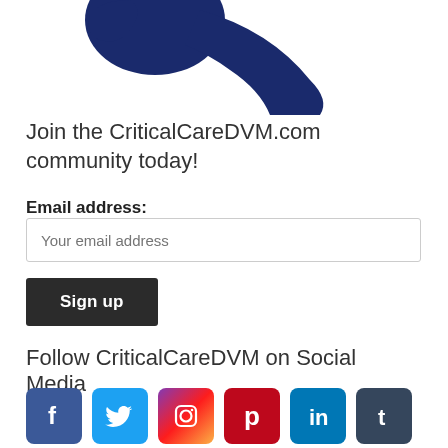[Figure (logo): Partial logo of CriticalCareDVM.com - dark navy blue stylized graphic visible at top of page]
Join the CriticalCareDVM.com community today!
Email address:
Your email address
Sign up
Follow CriticalCareDVM on Social Media
[Figure (illustration): Row of social media icons: Facebook (blue), Twitter (light blue), Instagram (gradient pink/purple), Pinterest (red), LinkedIn (blue), Tumblr (dark blue-grey)]